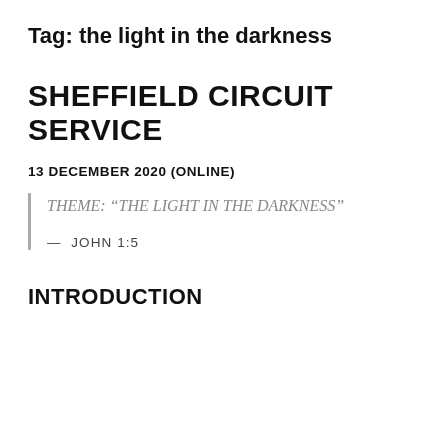Tag: the light in the darkness
SHEFFIELD CIRCUIT SERVICE
13 DECEMBER 2020 (ONLINE)
THEME: “THE LIGHT IN THE DARKNESS”

— JOHN 1:5
INTRODUCTION